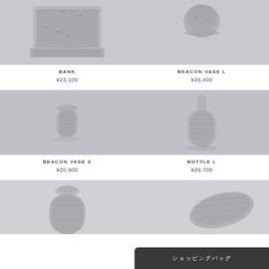[Figure (photo): Stone/ceramic textured object (BANK) on grey background, top portion visible]
BANK
¥23,100
[Figure (photo): Stone/ceramic textured vase (BEACON VASE L) on grey background, top portion visible]
BEACON VASE L
¥26,400
[Figure (photo): Stone/ceramic small vase (BEACON VASE S) on grey background]
BEACON VASE S
¥20,900
[Figure (photo): Stone/ceramic tall bottle (BOTTLE L) on grey background]
BOTTLE L
¥29,700
[Figure (photo): Stone/ceramic bottle (bottom row left) on grey background, partially visible]
[Figure (photo): Stone/ceramic objects (bottom row right) on grey background, partially visible]
ショッピングバッグ